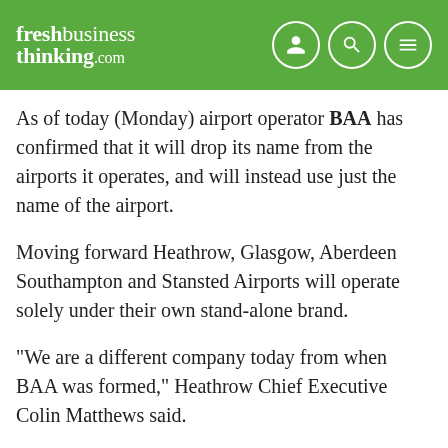freshbusiness thinking.com
As of today (Monday) airport operator BAA has confirmed that it will drop its name from the airports it operates, and will instead use just the name of the airport.
Moving forward Heathrow, Glasgow, Aberdeen Southampton and Stansted Airports will operate solely under their own stand-alone brand.
"We are a different company today from when BAA was formed," Heathrow Chief Executive Colin Matthews said.
"Over the last few years we have sold our stakes in Gatwick, Edinburgh, Budapest and Naples airports and we are in the process of selling Stansted Airport. The BAA name no longer